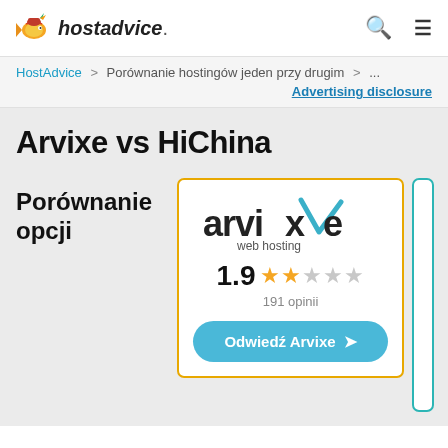hostadvice.
HostAdvice > Porównanie hostingów jeden przy drugim > ...
Advertising disclosure
Arvixe vs HiChina
Porównanie opcji
[Figure (logo): Arvixe web hosting logo with teal checkmark]
1.9  191 opinii
Odwiedź Arvixe →